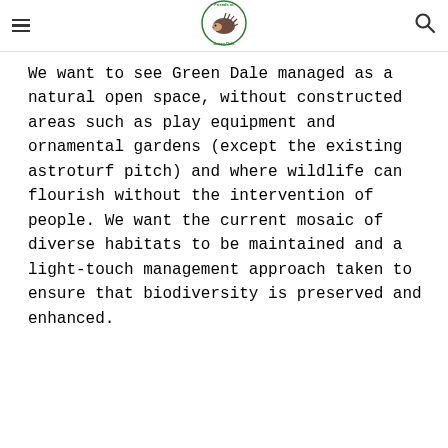Friends of Green Dale [logo] [hamburger menu] [search icon]
We want to see Green Dale managed as a natural open space, without constructed areas such as play equipment and ornamental gardens (except the existing astroturf pitch) and where wildlife can flourish without the intervention of people. We want the current mosaic of diverse habitats to be maintained and a light-touch management approach taken to ensure that biodiversity is preserved and enhanced.